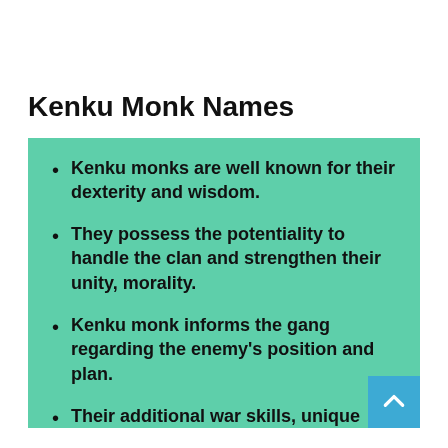Kenku Monk Names
Kenku monks are well known for their dexterity and wisdom.
They possess the potentiality to handle the clan and strengthen their unity, morality.
Kenku monk informs the gang regarding the enemy's position and plan.
Their additional war skills, unique mentality helps to break the monotony while fighting.
The clans gather enough war knowledge from